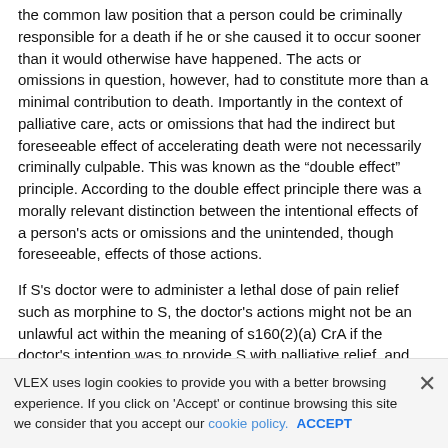the common law position that a person could be criminally responsible for a death if he or she caused it to occur sooner than it would otherwise have happened. The acts or omissions in question, however, had to constitute more than a minimal contribution to death. Importantly in the context of palliative care, acts or omissions that had the indirect but foreseeable effect of accelerating death were not necessarily criminally culpable. This was known as the “double effect” principle. According to the double effect principle there was a morally relevant distinction between the intentional effects of a person's acts or omissions and the unintended, though foreseeable, effects of those actions.
If S's doctor were to administer a lethal dose of pain relief such as morphine to S, the doctor's actions might not be an unlawful act within the meaning of s160(2)(a) CrA if the doctor's intention was to provide S with palliative relief, and provided that
VLEX uses login cookies to provide you with a better browsing experience. If you click on 'Accept' or continue browsing this site we consider that you accept our cookie policy. ACCEPT